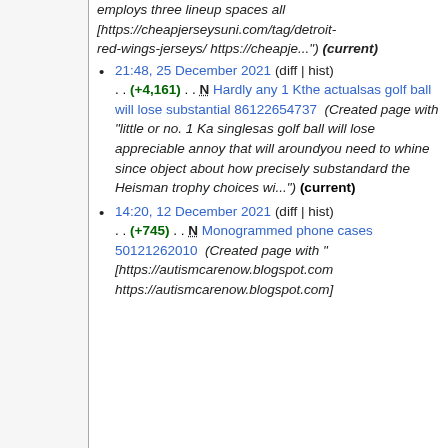employs three lineup spaces all [https://cheapjerseysuni.com/tag/detroit-red-wings-jerseys/ https://cheapje...") (current)
21:48, 25 December 2021 (diff | hist) . . (+4,161) . . N Hardly any 1 Kthe actualsas golf ball will lose substantial 86122654737 (Created page with "little or no. 1 Ka singlesas golf ball will lose appreciable annoy that will aroundyou need to whine since object about how precisely substandard the Heisman trophy choices wi...") (current)
14:20, 12 December 2021 (diff | hist) . . (+745) . . N Monogrammed phone cases 50121262010 (Created page with " [https://autismcarenow.blogspot.com https://autismcarenow.blogspot.com]